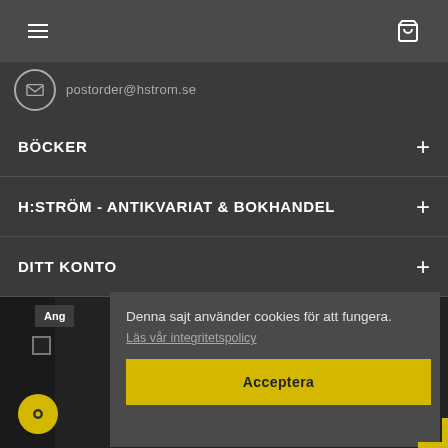Navigation menu bar with hamburger and cart icons
postorder@hstrom.se
BÖCKER +
H:STRÖM - ANTIKVARIAT & BOKHANDEL +
DITT KONTO +
Denna sajt använder cookies för att fungera. Läs vår integritetspolicy
Acceptera